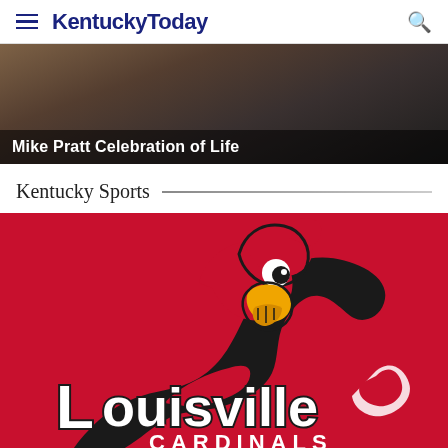KentuckyToday
[Figure (photo): Cropped photo of a person in dark clothing, with caption overlay reading 'Mike Pratt Celebration of Life']
Mike Pratt Celebration of Life
Kentucky Sports
[Figure (logo): University of Louisville Cardinals logo — red cardinal bird mascot above stylized 'Louisville Cardinals' text on a red background]